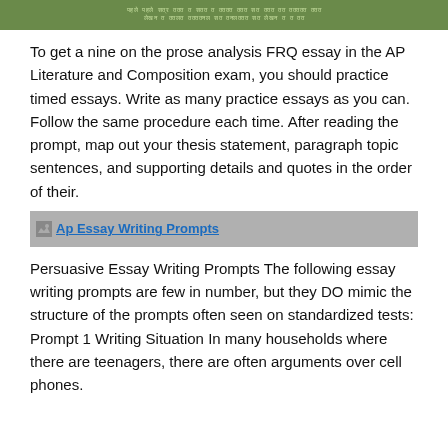[Figure (photo): Green background banner with Hindi/foreign script text in lighter green color, two lines of text.]
To get a nine on the prose analysis FRQ essay in the AP Literature and Composition exam, you should practice timed essays. Write as many practice essays as you can. Follow the same procedure each time. After reading the prompt, map out your thesis statement, paragraph topic sentences, and supporting details and quotes in the order of their.
[Figure (screenshot): Image placeholder showing text 'Ap Essay Writing Prompts' in blue underlined font on a gray background.]
Persuasive Essay Writing Prompts The following essay writing prompts are few in number, but they DO mimic the structure of the prompts often seen on standardized tests: Prompt 1 Writing Situation In many households where there are teenagers, there are often arguments over cell phones.